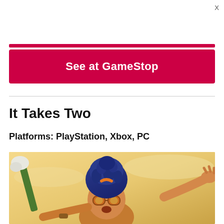X
See at GameStop
It Takes Two
Platforms: PlayStation, Xbox, PC
[Figure (photo): Game art for 'It Takes Two' showing an animated character with blue curly hair pulled up, orange goggles, wearing colorful clothes, arms spread wide, against a warm golden/beige background sky. The character appears expressive and urgent.]